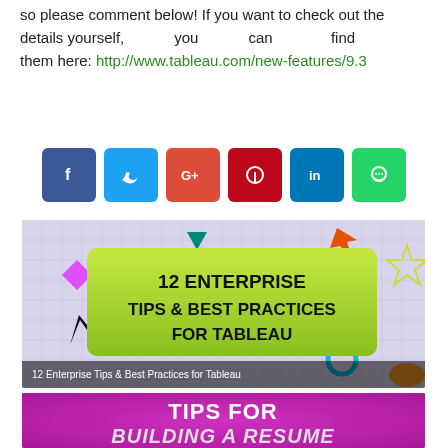so please comment below! If you want to check out the details yourself, you can find them here: http://www.tableau.com/new-features/9.3
[Figure (other): Row of social media share buttons: Facebook (blue), Twitter (light blue), Google+ (red), Pinterest (dark red), LinkedIn (blue), WhatsApp (green)]
[Figure (infographic): Infographic thumbnail with light purple grid background and decorative shapes. Central green box with bold black text: '12 ENTERPRISE TIPS & BEST PRACTICES FOR TABLEAU'. Caption at bottom: '12 Enterprise Tips & Best Practices for Tableau']
[Figure (infographic): Infographic thumbnail with magenta/pink background. Bold white text: 'TIPS FOR BUILDING A RESUME IN TABLEAU']